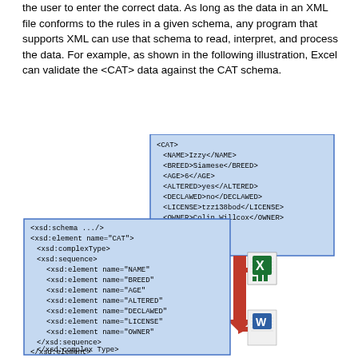the user to enter the correct data. As long as the data in an XML file conforms to the rules in a given schema, any program that supports XML can use that schema to read, interpret, and process the data. For example, as shown in the following illustration, Excel can validate the <CAT> data against the CAT schema.
[Figure (schematic): Diagram showing an XML data file (CAT element with NAME Izzy, BREED Siamese, AGE 6, ALTERED yes, DECLAWED no, LICENSE tzz138bod, OWNER Colin Willcox) connected by a red arrow to an Excel icon and a Word icon, both pointing left to an XSD schema definition file.]